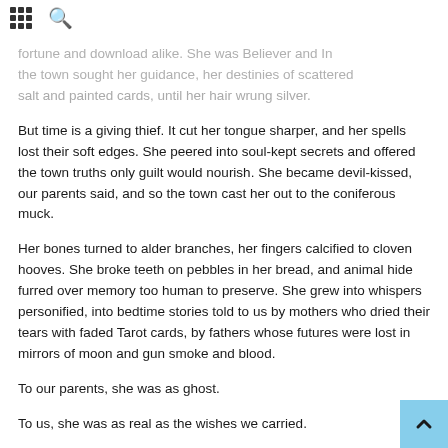salt and painted cards, until her hair wrung silver.
But time is a giving thief. It cut her tongue sharper, and her spells lost their soft edges. She peered into soul-kept secrets and offered the town truths only guilt would nourish. She became devil-kissed, our parents said, and so the town cast her out to the coniferous muck.
Her bones turned to alder branches, her fingers calcified to cloven hooves. She broke teeth on pebbles in her bread, and animal hide furred over memory too human to preserve. She grew into whispers personified, into bedtime stories told to us by mothers who dried their tears with faded Tarot cards, by fathers whose futures were lost in mirrors of moon and gun smoke and blood.
To our parents, she was as ghost.
To us, she was as real as the wishes we carried.
For that is what we brought her. Our wishes, plucked and braided into